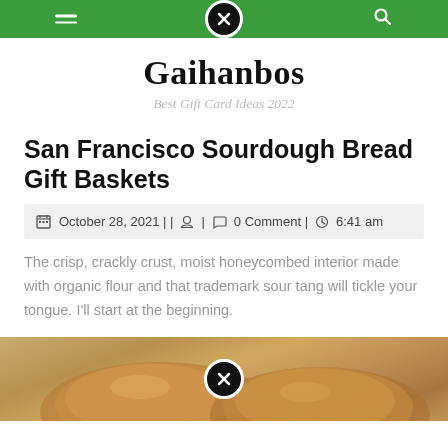Gaihanbos – Best Gift Card Ideas 2022
Gaihanbos
Best Gift Card Ideas 2022
San Francisco Sourdough Bread Gift Baskets
October 28, 2021 | | 👤 | 💬 0 Comment | 🕐 6:41 am
The crisp, crackly crust, moist honeycombed interior made with organic flour and that trademark sour tang will tickle your tongue. I'll start at the beginning.
[Figure (photo): Photo of San Francisco sourdough bread loaves, partially visible at bottom of page]